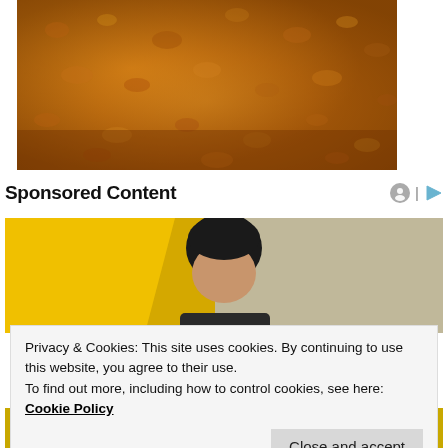[Figure (photo): Close-up photo of golden-brown crumbly food, resembling breaded or crumbed texture, shot from above.]
Sponsored Content
[Figure (photo): Sponsored content image showing a person with dark hair against a yellow and grey background.]
Privacy & Cookies: This site uses cookies. By continuing to use this website, you agree to their use.
To find out more, including how to control cookies, see here: Cookie Policy
Close and accept